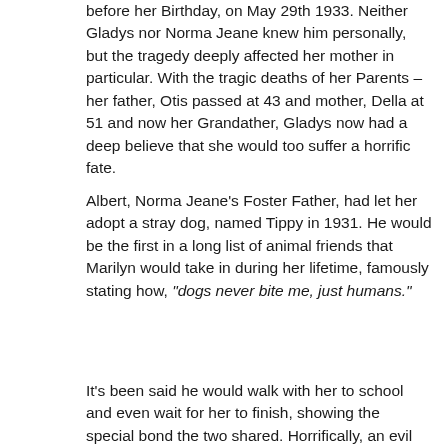before her Birthday, on May 29th 1933. Neither Gladys nor Norma Jeane knew him personally, but the tragedy deeply affected her mother in particular. With the tragic deaths of her Parents – her father, Otis passed at 43 and mother, Della at 51 and now her Grandather, Gladys now had a deep believe that she would too suffer a horrific fate.
Albert, Norma Jeane's Foster Father, had let her adopt a stray dog, named Tippy in 1931. He would be the first in a long list of animal friends that Marilyn would take in during her lifetime, famously stating how, "dogs never bite me, just humans."
It's been said he would walk with her to school and even wait for her to finish, showing the special bond the two shared. Horrifically, an evil neighbour would end up killing Tippy in June of this year, with varying accounts being he was either annoyed by his barking or him being on their premises. Naturally, this event traumatized Norma Jeane especially and Albert would go on to bury him in their